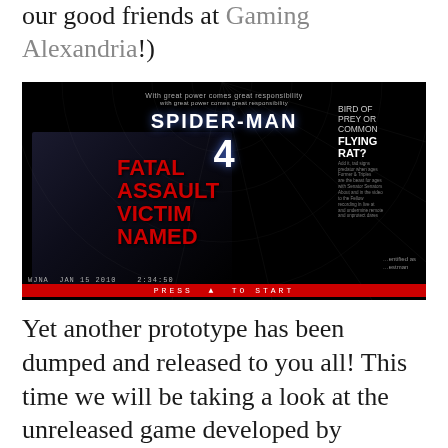our good friends at Gaming Alexandria!)
[Figure (screenshot): Spider-Man 4 game prototype screenshot showing title screen with Spider-Man figure, 'SPIDER-MAN 4' title text, 'BIRD OF PREY OR COMMON FLYING RAT?' text, 'FATAL ASSAULT VICTIM NAMED' headline overlay, WJNA Jan 15 2010 date bar, and PRESS TO START prompt on red bar]
Yet another prototype has been dumped and released to you all! This time we will be taking a look at the unreleased game developed by Eurocom, Spider-Man 4 on the